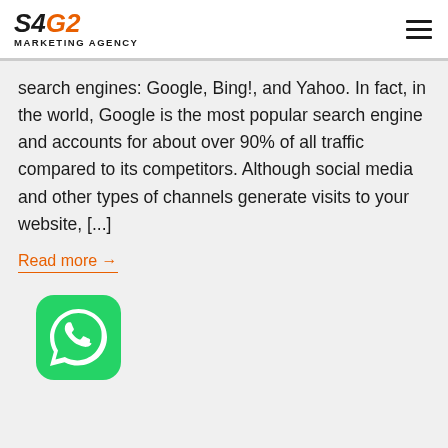S4G2 MARKETING AGENCY
search engines: Google, Bing!, and Yahoo. In fact, in the world, Google is the most popular search engine and accounts for about over 90% of all traffic compared to its competitors. Although social media and other types of channels generate visits to your website, [...]
Read more →
[Figure (logo): WhatsApp logo icon — green rounded square with white phone handset inside a speech bubble]